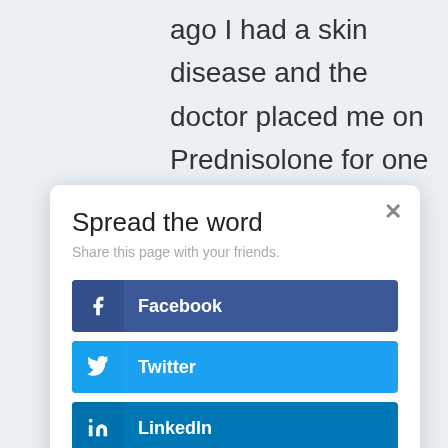ago I had a skin disease and the doctor placed me on Prednisolone for one week but I am still on it till date will
Spread the word
Share this page with your friends.
Facebook
Twitter
LinkedIn